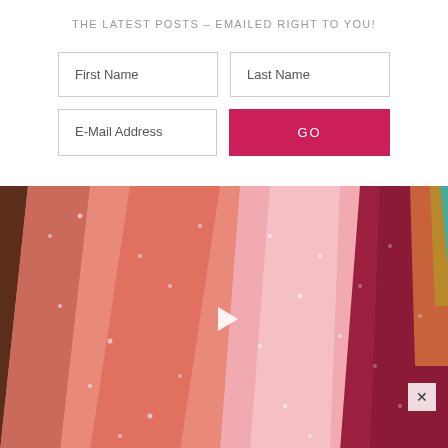THE LATEST POSTS - EMAILED RIGHT TO YOU!
[Figure (other): Email subscription form with First Name, Last Name, E-Mail Address fields and a GO button]
[Figure (photo): Colorful polka-dot fabric rolls fanned out — salmon pink, light pink, dark red, orange, gold, teal — with a video play button overlay and close X button]